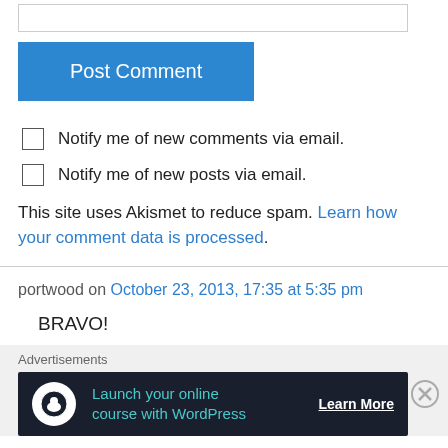[Figure (other): Text input box (partially visible at top)]
Post Comment
Notify me of new comments via email.
Notify me of new posts via email.
This site uses Akismet to reduce spam. Learn how your comment data is processed.
portwood on October 23, 2013, 17:35 at 5:35 pm
BRAVO!
Advertisements
[Figure (other): Advertisement banner: Launch your online course with WordPress - Learn More button]